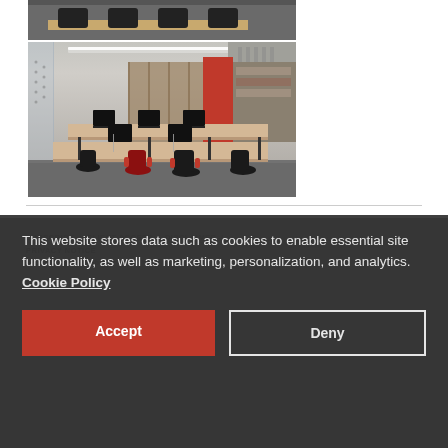[Figure (photo): Top partial strip of an office/conference room photo showing chairs and a table edge]
[Figure (photo): Open-plan office interior with workstations, black office chairs with red accents, monitors on desks, a red accent wall in background, glass partitions on left, LED strip lighting on ceiling]
SUBSCRIBE | CLIENT ACCESS | DISCLAIMER | PRIVACY NOTICE | A LexMundi Member
This website stores data such as cookies to enable essential site functionality, as well as marketing, personalization, and analytics. Cookie Policy
Accept
Deny